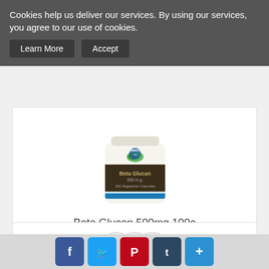Cookies help us deliver our services. By using our services, you agree to our use of cookies.
Learn More | Accept
[Figure (photo): Supplement bottle: Beta Glucan 500mg 100 Vegetarian Capsules]
Beta Glucan 500mg 100c
only $67.98
☆☆☆☆☆
View
Add to Cart
[Figure (photo): Partial view of another supplement product (pills/tablets visible)]
[Figure (infographic): Social sharing icons: Facebook, Twitter, Pinterest, Tumblr, plus/share]